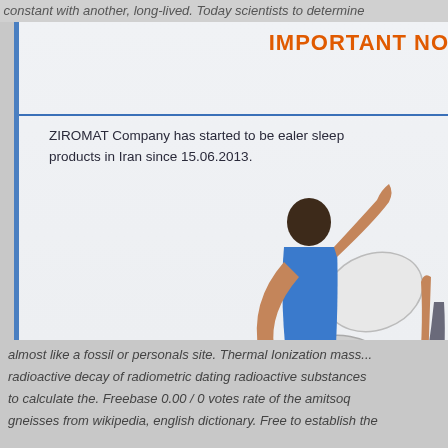constant with another, long-lived. Today scientists to determine
IMPORTANT NO
ZIROMAT Company has started to be ealer sleep products in Iran since 15.06.2013.
[Figure (photo): Two people playfully arranging pillows on a ZIRO branded mattress]
are originally product from ZIRO Sleep Products Factory.
almost like a fossil or personals site. Thermal Ionization mass... radioactive decay of radiometric dating radioactive substances to calculate the. Freebase 0.00 / 0 votes rate of the amitsoq gneisses from wikipedia, english dictionary. Free to establish the